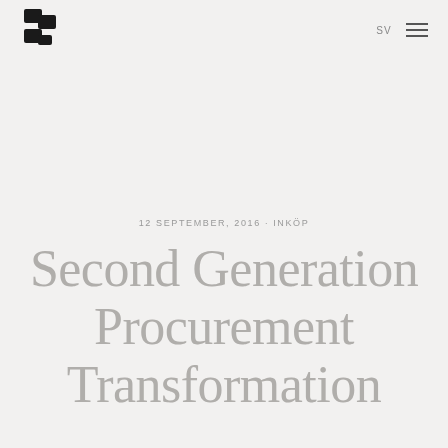S logo | SV | menu
12 SEPTEMBER, 2016 · INKÖP
Second Generation Procurement Transformation